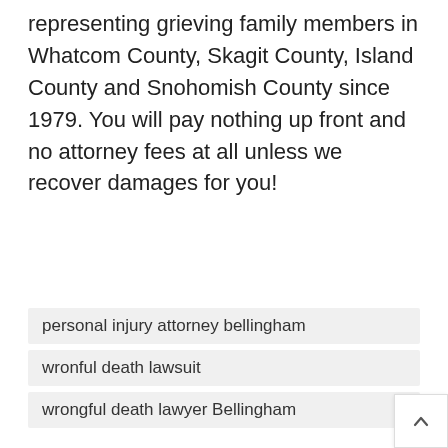representing grieving family members in Whatcom County, Skagit County, Island County and Snohomish County since 1979. You will pay nothing up front and no attorney fees at all unless we recover damages for you!
personal injury attorney bellingham
wronful death lawsuit
wrongful death lawyer Bellingham
Share  0
Related Posts
[Figure (photo): Photo related to a legal/wrongful death post, showing an interior room with doors and a figure partially visible]